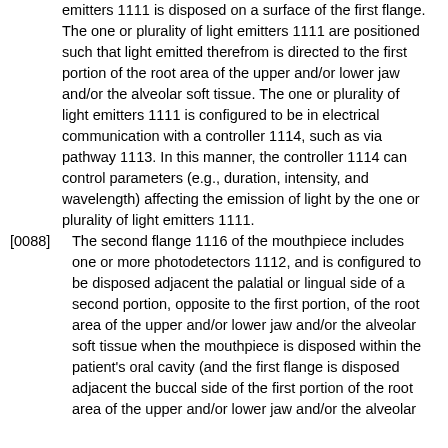emitters 1111 is disposed on a surface of the first flange. The one or plurality of light emitters 1111 are positioned such that light emitted therefrom is directed to the first portion of the root area of the upper and/or lower jaw and/or the alveolar soft tissue. The one or plurality of light emitters 1111 is configured to be in electrical communication with a controller 1114, such as via pathway 1113. In this manner, the controller 1114 can control parameters (e.g., duration, intensity, and wavelength) affecting the emission of light by the one or plurality of light emitters 1111.
[0088] The second flange 1116 of the mouthpiece includes one or more photodetectors 1112, and is configured to be disposed adjacent the palatial or lingual side of a second portion, opposite to the first portion, of the root area of the upper and/or lower jaw and/or the alveolar soft tissue when the mouthpiece is disposed within the patient's oral cavity (and the first flange is disposed adjacent the buccal side of the first portion of the root area of the upper and/or lower jaw and/or the alveolar